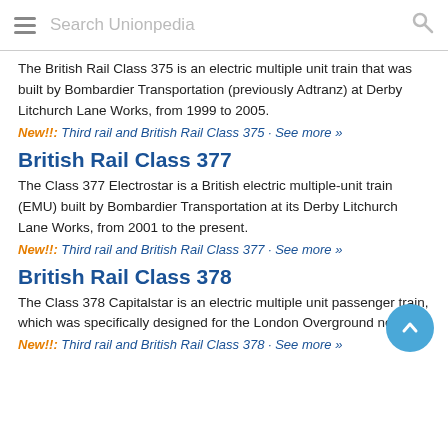Search Unionpedia
The British Rail Class 375 is an electric multiple unit train that was built by Bombardier Transportation (previously Adtranz) at Derby Litchurch Lane Works, from 1999 to 2005.
New!!: Third rail and British Rail Class 375 · See more »
British Rail Class 377
The Class 377 Electrostar is a British electric multiple-unit train (EMU) built by Bombardier Transportation at its Derby Litchurch Lane Works, from 2001 to the present.
New!!: Third rail and British Rail Class 377 · See more »
British Rail Class 378
The Class 378 Capitalstar is an electric multiple unit passenger train, which was specifically designed for the London Overground network.
New!!: Third rail and British Rail Class 378 · See more »